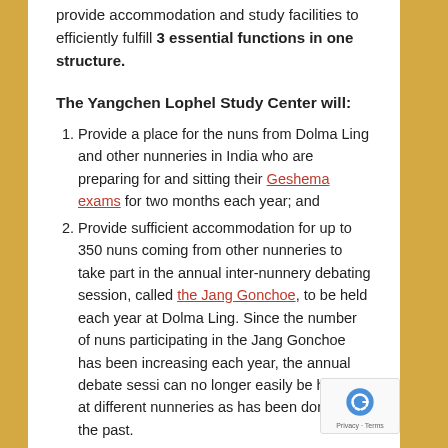provide accommodation and study facilities to efficiently fulfill 3 essential functions in one structure.
The Yangchen Lophel Study Center will:
Provide a place for the nuns from Dolma Ling and other nunneries in India who are preparing for and sitting their Geshema exams for two months each year; and
Provide sufficient accommodation for up to 350 nuns coming from other nunneries to take part in the annual inter-nunnery debating session, called the Jang Gonchoe, to be held each year at Dolma Ling. Since the number of nuns participating in the Jang Gonchoe has been increasing each year, the annual debate session can no longer easily be hosted at different nunneries as has been done in the past.